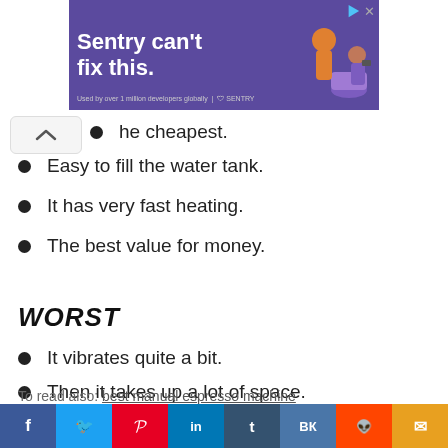[Figure (screenshot): Advertisement banner: 'Sentry can't fix this.' on purple background with illustrated figures]
he cheapest.
Easy to fill the water tank.
It has very fast heating.
The best value for money.
WORST
It vibrates quite a bit.
Then it takes up a lot of space.
It is not silent.
See on Amazon
To read also: best manual espresso machine